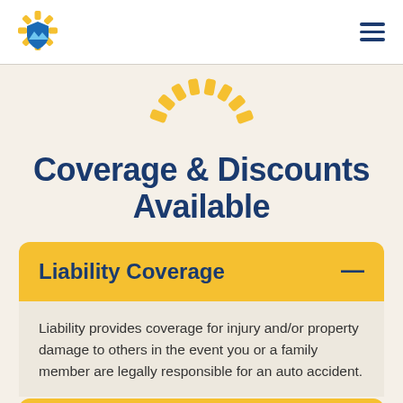[Figure (logo): Insurance company logo with sun rays and shield icon in blue and yellow]
[Figure (logo): Hamburger menu icon (three horizontal lines) in dark blue]
[Figure (illustration): Yellow sun rays semicircle icon centered on the page]
Coverage & Discounts Available
Liability Coverage
Liability provides coverage for injury and/or property damage to others in the event you or a family member are legally responsible for an auto accident.
Other Than Collision